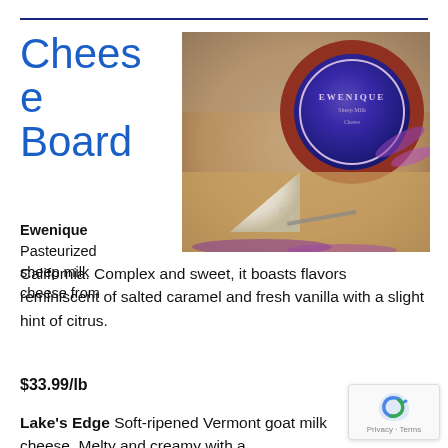Cheese Board
[Figure (photo): A wheel of Ewenique sheep milk cheese with purple label, a cut wedge showing interior, and purple lavender flowers on a wooden board]
Ewenique Pasteurized sheep milk cheese from California. Complex and sweet, it boasts flavors reminiscent of salted caramel and fresh vanilla with a slight hint of citrus.
$33.99/lb
Lake's Edge Soft-ripened Vermont goat milk cheese. Melty and creamy with a